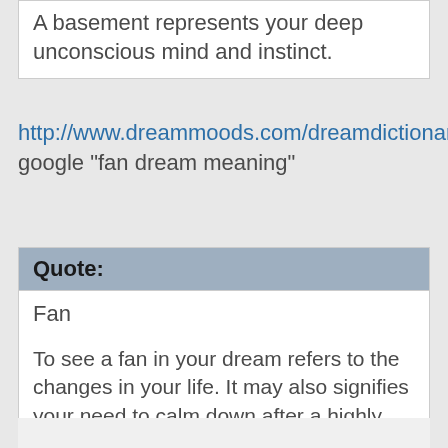A basement represents your deep unconscious mind and instinct.
http://www.dreammoods.com/dreamdictionary/f_all.htm google "fan dream meaning"
| Quote: |
| --- |
| Fan

To see a fan in your dream refers to the changes in your life. It may also signifies your need to calm down after a highly charged emotional situation or state. |